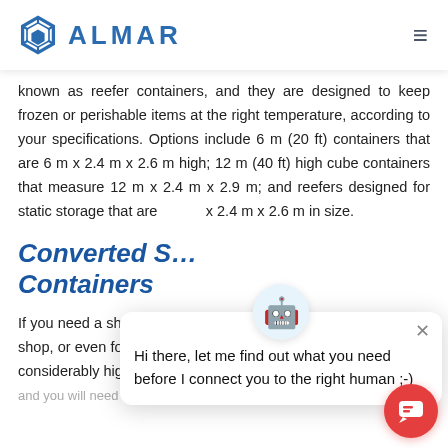ALMAR
known as reefer containers, and they are designed to keep frozen or perishable items at the right temperature, according to your specifications. Options include 6 m (20 ft) containers that are 6 m x 2.4 m x 2.6 m high; 12 m (40 ft) high cube containers that measure 12 m x 2.4 m x 2.9 m; and reefers designed for static storage that are ... x 2.4 m x 2.6 m in size.
Converted Shipping Containers
If you need a shipping container that can be used as an office, a shop, or even for accommodation, container rental prices will be considerably higher, and you will need to search more specifically for
[Figure (screenshot): Chat popup overlay with bot avatar and message: Hi there, let me find out what you need before I connect you to the right human ;-)]